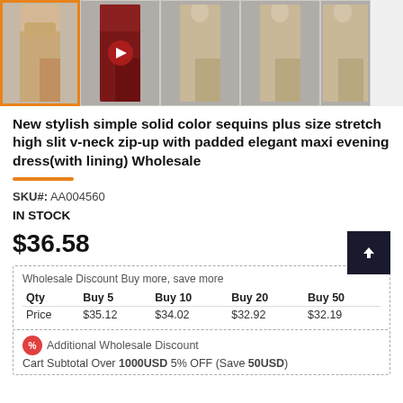[Figure (photo): Row of 5 product thumbnail images showing a sequin maxi evening dress in various colors; first thumbnail is selected with orange border, second shows a dark red dress with play button overlay]
New stylish simple solid color sequins plus size stretch high slit v-neck zip-up with padded elegant maxi evening dress(with lining) Wholesale
SKU#: AA004560
IN STOCK
$36.58
| Qty | Buy 5 | Buy 10 | Buy 20 | Buy 50 |
| --- | --- | --- | --- | --- |
| Price | $35.12 | $34.02 | $32.92 | $32.19 |
Additional Wholesale Discount
Cart Subtotal Over 1000USD 5% OFF (Save 50USD)